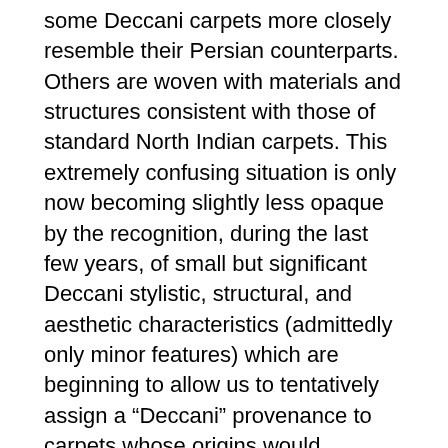some Deccani carpets more closely resemble their Persian counterparts. Others are woven with materials and structures consistent with those of standard North Indian carpets. This extremely confusing situation is only now becoming slightly less opaque by the recognition, during the last few years, of small but significant Deccani stylistic, structural, and aesthetic characteristics (admittedly only minor features) which are beginning to allow us to tentatively assign a “Deccani” provenance to carpets whose origins would otherwise remain unresolved.” – ORTS website
This lecture will take place in person at the University Women’s Club in Mayfair and is free for ORTS members and £7 for non-members. The talk will take place simultaneously by Zoom. If you wish to attend online please contact the Membership Secretary Dimity Spiller